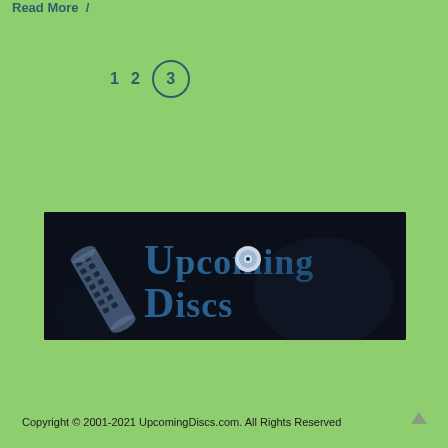Read More /
1  2  3
[Figure (logo): UpcomingDiscs logo: dark background with film strip and disc imagery, text reads 'Upcoming Discs' in blue gradient letters]
Copyright © 2001-2021 UpcomingDiscs.com. All Rights Reserved